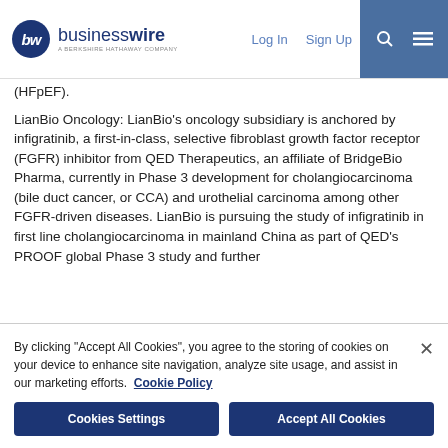businesswire — A BERKSHIRE HATHAWAY COMPANY | Log In | Sign Up
(HFpEF).
LianBio Oncology: LianBio's oncology subsidiary is anchored by infigratinib, a first-in-class, selective fibroblast growth factor receptor (FGFR) inhibitor from QED Therapeutics, an affiliate of BridgeBio Pharma, currently in Phase 3 development for cholangiocarcinoma (bile duct cancer, or CCA) and urothelial carcinoma among other FGFR-driven diseases. LianBio is pursuing the study of infigratinib in first line cholangiocarcinoma in mainland China as part of QED's PROOF global Phase 3 study and further
By clicking "Accept All Cookies", you agree to the storing of cookies on your device to enhance site navigation, analyze site usage, and assist in our marketing efforts. Cookie Policy
Cookies Settings | Accept All Cookies